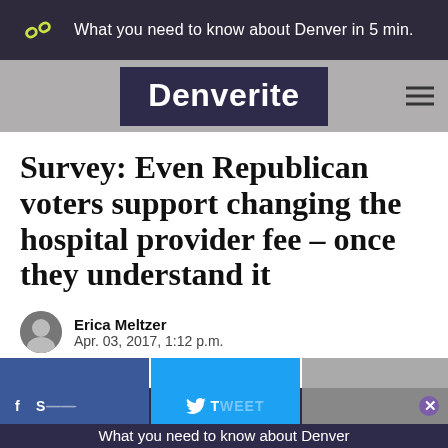What you need to know about Denver in 5 min.
[Figure (logo): Denverite logo — chain link icon in yellow-green on dark purple background, with site name 'Denverite' in white bold text on dark purple nav bar]
Survey: Even Republican voters support changing the hospital provider fee – once they understand it
Erica Meltzer
Apr. 03, 2017, 1:12 p.m.
[Figure (screenshot): Social share buttons: Facebook SHARE, Twitter TWEET, and another share option. A purple close (X) button is visible in the bottom right.]
What you need to know about Denver